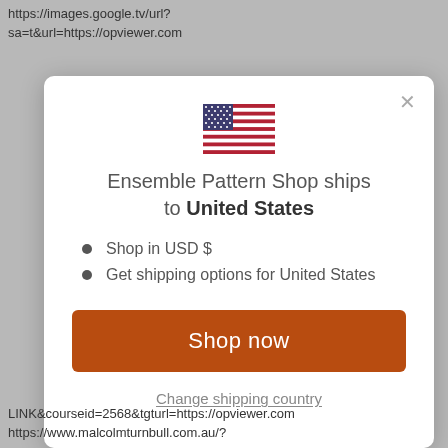https://images.google.tv/url?sa=t&url=https://opviewer.com
[Figure (screenshot): Modal dialog showing US flag and shipping information for Ensemble Pattern Shop]
Ensemble Pattern Shop ships to United States
Shop in USD $
Get shipping options for United States
Shop now
Change shipping country
LINK&courseid=2568&tgturl=https://opviewer.com https://www.malcolmturnbull.com.au/?